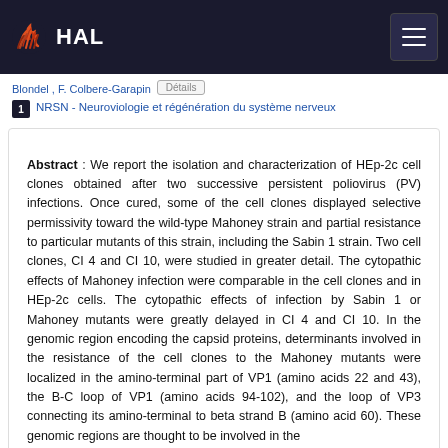[Figure (logo): HAL open archive logo with stylized wave icon and HAL text in white on dark navy header bar, with hamburger menu button on the right]
Blondel , F. Colbere-Garapin  Details
1 NRSN - Neuroviologie et régénération du système nerveux
Abstract : We report the isolation and characterization of HEp-2c cell clones obtained after two successive persistent poliovirus (PV) infections. Once cured, some of the cell clones displayed selective permissivity toward the wild-type Mahoney strain and partial resistance to particular mutants of this strain, including the Sabin 1 strain. Two cell clones, CI 4 and CI 10, were studied in greater detail. The cytopathic effects of Mahoney infection were comparable in the cell clones and in HEp-2c cells. The cytopathic effects of infection by Sabin 1 or Mahoney mutants were greatly delayed in CI 4 and CI 10. In the genomic region encoding the capsid proteins, determinants involved in the resistance of the cell clones to the Mahoney mutants were localized in the amino-terminal part of VP1 (amino acids 22 and 43), the B-C loop of VP1 (amino acids 94-102), and the loop of VP3 connecting its amino-terminal to beta strand B (amino acid 60). These genomic regions are thought to be involved in the